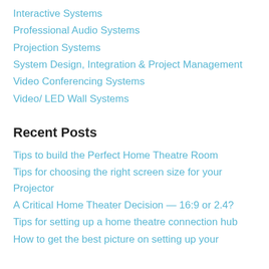Interactive Systems
Professional Audio Systems
Projection Systems
System Design, Integration & Project Management
Video Conferencing Systems
Video/ LED Wall Systems
Recent Posts
Tips to build the Perfect Home Theatre Room
Tips for choosing the right screen size for your Projector
A Critical Home Theater Decision — 16:9 or 2.4?
Tips for setting up a home theatre connection hub
How to get the best picture on setting up your